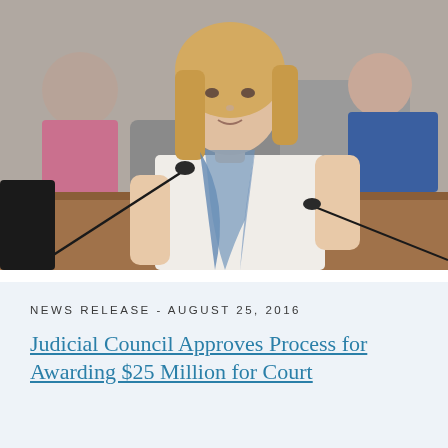[Figure (photo): A blonde woman in a white sleeveless top with a blue scarf speaks into a microphone at what appears to be a council or committee hearing. Other people are visible in the background, slightly out of focus.]
NEWS RELEASE - AUGUST 25, 2016
Judicial Council Approves Process for Awarding $25 Million for Court